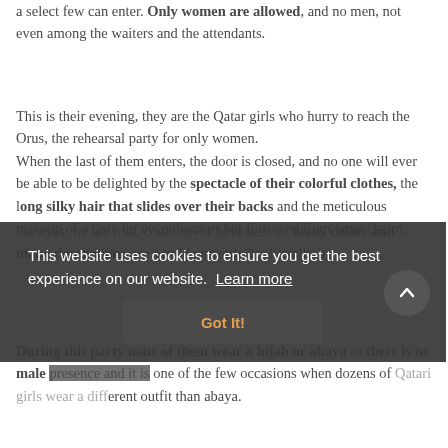a select few can enter. Only women are allowed, and no men, not even among the waiters and the attendants.
This is their evening, they are the Qatar girls who hurry to reach the Orus, the rehearsal party for only women.
When the last of them enters, the door is closed, and no one will ever be able to be delighted by the spectacle of their colorful clothes, the long silky hair that slides over their backs and the meticulous makeup of a taste far away from us but furrowed from large charm.
our eyes, we are told, could never have seen so many colors and many decorations, we would certainly be literally b[obscured by cookie banner]
During this party none of them wear a hijab or abaya as there is no male presence and it is one of the few occasions when dozens of Qatari girls wear a different outfit than abaya.
The bride traditionally is seated on a throne so much
This website uses cookies to ensure you get the best experience on our website. Learn more
Got It!